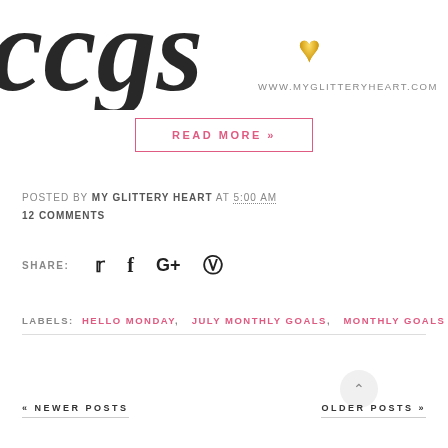[Figure (illustration): Partial view of 'My Glittery Heart' blog logo with cursive text and gold glitter heart, url www.myglitteryheart.com]
READ MORE »
POSTED BY MY GLITTERY HEART AT 5:00 AM
12 COMMENTS
SHARE:  [Twitter] [Facebook] [Google+] [Pinterest]
LABELS:  HELLO MONDAY,   JULY MONTHLY GOALS,   MONTHLY GOALS
« NEWER POSTS
OLDER POSTS »